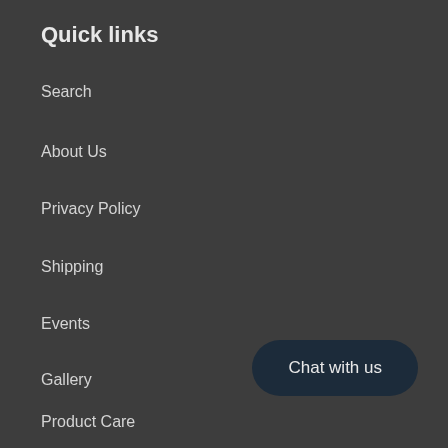Quick links
Search
About Us
Privacy Policy
Shipping
Events
Gallery
Product Care
Fiber Facts
Chat with us